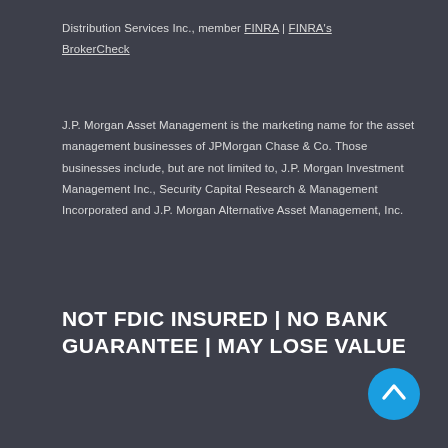Distribution Services Inc., member FINRA | FINRA's BrokerCheck
J.P. Morgan Asset Management is the marketing name for the asset management businesses of JPMorgan Chase & Co. Those businesses include, but are not limited to, J.P. Morgan Investment Management Inc., Security Capital Research & Management Incorporated and J.P. Morgan Alternative Asset Management, Inc.
NOT FDIC INSURED | NO BANK GUARANTEE | MAY LOSE VALUE